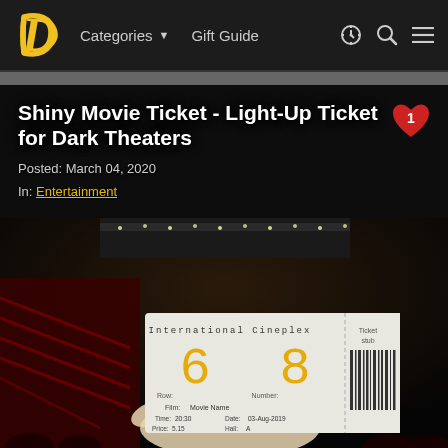Categories ▼   Gift Guide
Shiny Movie Ticket - Light-Up Ticket for Dark Theaters
Posted: March 04, 2020
In: Entertainment
[Figure (photo): A glowing movie ticket for International Cineplex showing Row 6, Number 8, Film: Movie Name, Time: 20:30, Date: 03-Aug-2019, Hall: A, Price: 5.15, with a barcode stub on the right, held by a hand in a dark theater]